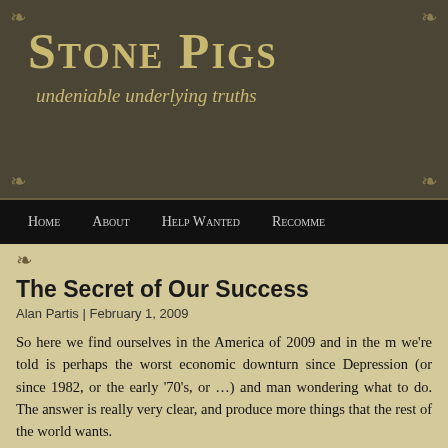Stone Pigs — undeniable underlying truths
Stone Pigs
undeniable underlying truths
Home  About  Help Wanted  Recomme…
The Secret of Our Success
Alan Partis | February 1, 2009
So here we find ourselves in the America of 2009 and in the m we're told is perhaps the worst economic downturn since Depression (or since 1982, or the early '70's, or ...) and man wondering what to do. The answer is really very clear, and produce more things that the rest of the world wants.